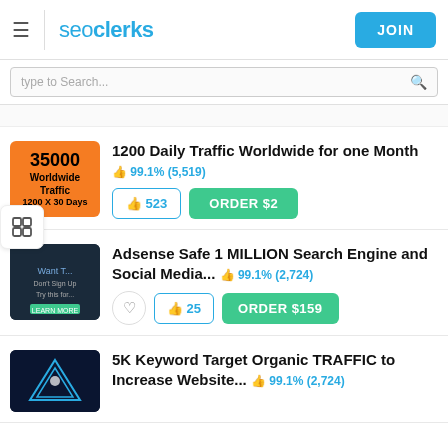seoclerks — JOIN
type to Search...
1200 Daily Traffic Worldwide for one Month 👍 99.1% (5,519)
👍 523  ORDER $2
Adsense Safe 1 MILLION Search Engine and Social Media... 👍 99.1% (2,724)
👍 25  ORDER $159
5K Keyword Target Organic TRAFFIC to Increase Website... 👍 99.1% (2,724)